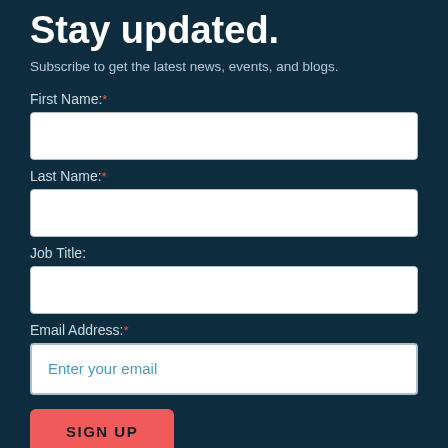Stay updated.
Subscribe to get the latest news, events, and blogs.
First Name:*
Last Name:*
Job Title:
Email Address:*
Enter your email
SIGN UP